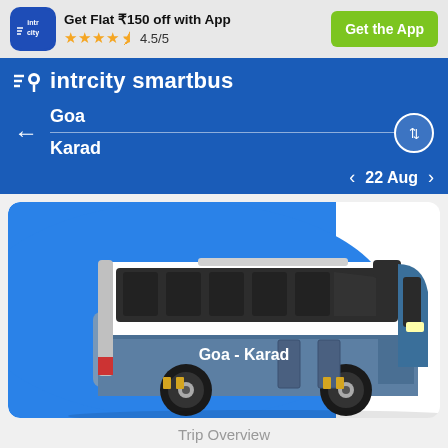Get Flat ₹150 off with App ★★★★☆ 4.5/5 | Get the App
intrcity smartbus
Goa
Karad
22 Aug
[Figure (illustration): Cartoon illustration of a blue and white coach bus with 'Goa - Karad' written on the side, on a blue circular background]
Trip Overview